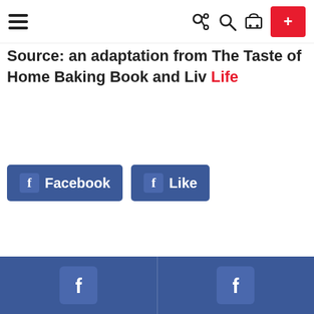Navigation bar with hamburger menu, share, search, cart icons, and red + button
Source: an adaptation from The Taste of Home Baking Book and Liv Life
[Figure (screenshot): Facebook share button and Facebook Like button in blue]
Footer bar with two Facebook icons on blue background